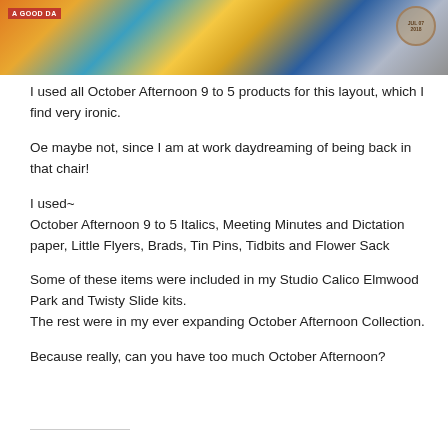[Figure (photo): Scrapbook layout banner image showing colorful paper crafting elements with orange, blue, yellow, and gray tones. Includes a red label reading 'A GOOD DA' on the left and a circular stamp on the right.]
I used all October Afternoon 9 to 5 products for this layout, which I find very ironic.
Oe maybe not, since I am at work daydreaming of being back in that chair!
I used~
October Afternoon 9 to 5 Italics, Meeting Minutes and Dictation paper, Little Flyers, Brads, Tin Pins, Tidbits and Flower Sack
Some of these items were included in my Studio Calico Elmwood Park and Twisty Slide kits.
The rest were in my ever expanding October Afternoon Collection.
Because really, can you have too much October Afternoon?